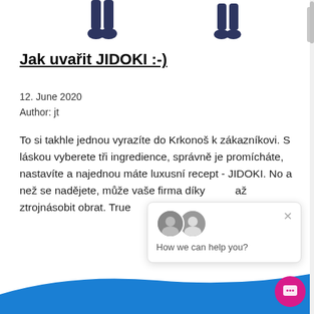[Figure (illustration): Two dark blue cartoon figures (people silhouettes) shown from waist down with feet, visible at top of page, plus a partial scrollbar element on the right]
Jak uvařit JIDOKI :-)
12. June 2020
Author: jt
To si takhle jednou vyrazíte do Krkonoš k zákazníkovi. S láskou vyberete tři ingredience, správně je promícháte, nastavíte a najednou máte luxusní recept - JIDOKI. No a než se nadějete, může vaše firma díky [avatars] až ztrojnásobit obrat. True
[Figure (screenshot): Chat widget popup showing two avatar photos and text 'How we can help you?' with a close X button, and a magenta circular chat button in the bottom right]
[Figure (illustration): Blue curved shape at bottom of page (footer area)]